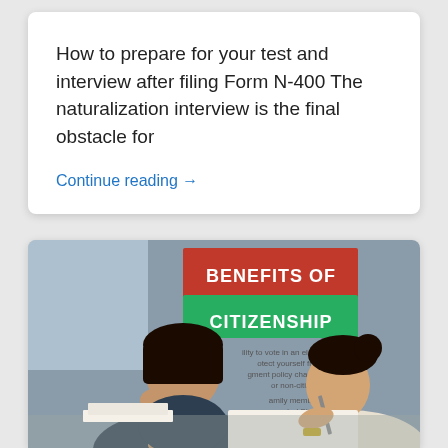How to prepare for your test and interview after filing Form N-400 The naturalization interview is the final obstacle for
Continue reading →
[Figure (photo): Two women sitting at a table studying, with a red and green banner in the background reading 'BENEFITS OF CITIZENSHIP' and partially visible bullet points about citizenship benefits.]